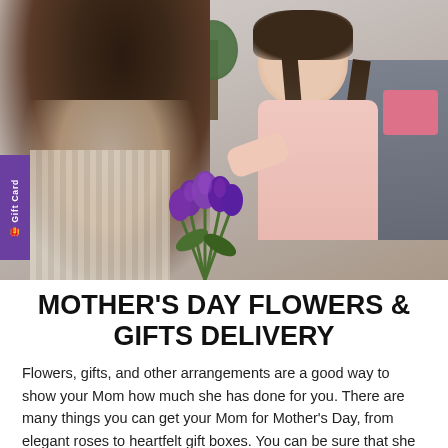[Figure (photo): A young girl with braided pigtails wearing a pink top presents a bouquet of purple tulips to a woman (seen from behind). They appear to be indoors with a plant and sofa in the background.]
MOTHER'S DAY FLOWERS & GIFTS DELIVERY
Flowers, gifts, and other arrangements are a good way to show your Mom how much she has done for you. There are many things you can get your Mom for Mother's Day, from elegant roses to heartfelt gift boxes. You can be sure that she will love